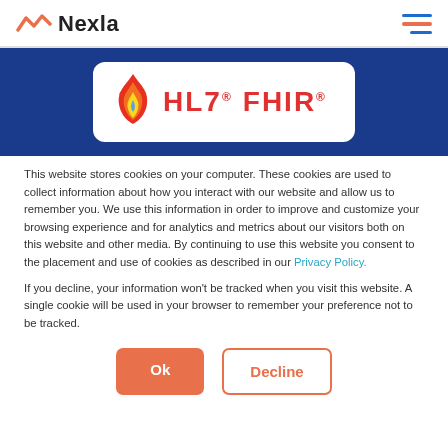Nexla (logo with hamburger menu)
[Figure (logo): HL7 FHIR logo on dark blue banner background with flame icon and white rounded rectangle card]
This website stores cookies on your computer. These cookies are used to collect information about how you interact with our website and allow us to remember you. We use this information in order to improve and customize your browsing experience and for analytics and metrics about our visitors both on this website and other media. By continuing to use this website you consent to the placement and use of cookies as described in our Privacy Policy.
If you decline, your information won't be tracked when you visit this website. A single cookie will be used in your browser to remember your preference not to be tracked.